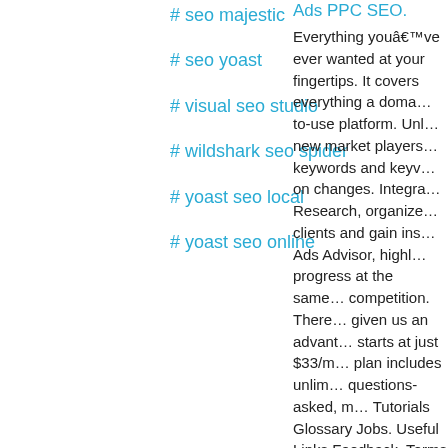# seo majestic
# seo yoast
# visual seo studio
# wildshark seo spider
# yoast seo local
# yoast seo online
Ads PPC SEO.
Everything youâ€™ve ever wanted at your fingertips. It covers everything a domain’s easy-to-use platform. Unlimited new market players, tracked keywords and keyw... on changes. Integra... Research, organize... clients and gain ins... Ads Advisor, highl... progress at the sam... competition. There... given us an advant... starts at just $33/m... plan includes unlim... questions-asked, m... Tutorials Glossary Jobs. Useful Links Feedback. Terms O... Policy. Â 2022 Spy...
SEO Checker The Site. check. apartm... keyboard. chart-ba...